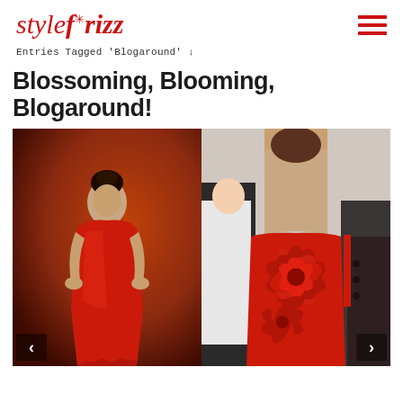style frizz
Entries Tagged 'Blogaround' ↓
Blossoming, Blooming, Blogaround!
[Figure (photo): Two side-by-side photos of a woman in a red strapless gown. Left photo shows the front view of the woman posing on a red carpet. Right photo shows the back of the dress which features large red fabric flower embellishments.]